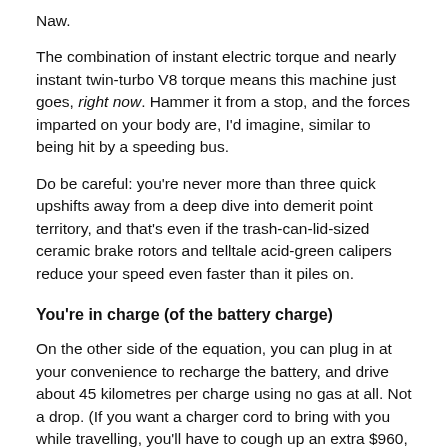Naw.
The combination of instant electric torque and nearly instant twin-turbo V8 torque means this machine just goes, right now. Hammer it from a stop, and the forces imparted on your body are, I'd imagine, similar to being hit by a speeding bus.
Do be careful: you're never more than three quick upshifts away from a deep dive into demerit point territory, and that's even if the trash-can-lid-sized ceramic brake rotors and telltale acid-green calipers reduce your speed even faster than it piles on.
You're in charge (of the battery charge)
On the other side of the equation, you can plug in at your convenience to recharge the battery, and drive about 45 kilometres per charge using no gas at all. Not a drop. (If you want a charger cord to bring with you while travelling, you'll have to cough up an extra $960, though).
There's even a special drive mode that holds that all-electric battery charge for later if you like, and another one that's intended to recharge the battery slowly as you drive around on gas power. The gist? You're the boss of this Panamera's